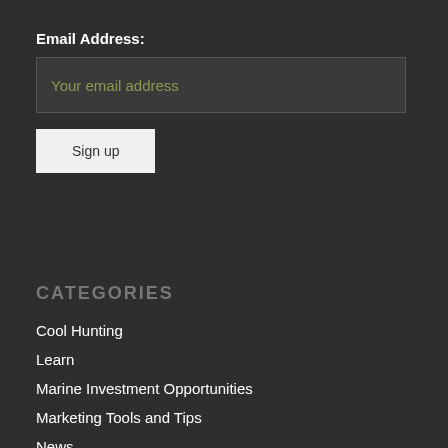Email Address:
Your email address
Sign up
CATEGORIES
Cool Hunting
Learn
Marine Investment Opportunities
Marketing Tools and Tips
News
Off-Market Yacht Investment Opportunities